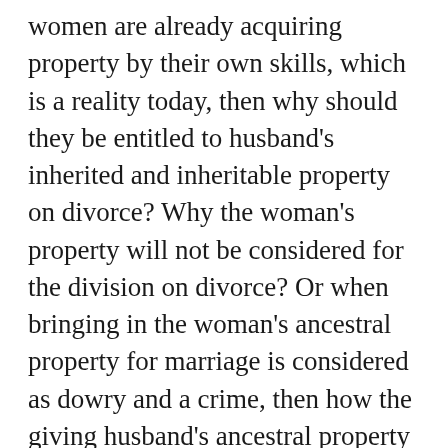women are already acquiring property by their own skills, which is a reality today, then why should they be entitled to husband's inherited and inheritable property on divorce? Why the woman's property will not be considered for the division on divorce? Or when bringing in the woman's ancestral property for marriage is considered as dowry and a crime, then how the giving husband's ancestral property becomes a right for the wife? How do the husband and NOT the government become responsible to ensure that women earn property?